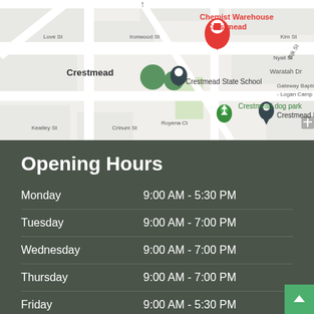[Figure (map): Google Maps screenshot showing Chemist Warehouse Crestmead location with surrounding streets including Love St, Ironwood St, Paperpark St, Kim St, Nyall St, Bijk St, Waratah Dr, Royena Ct, Crinum St, Keatley St. Nearby landmarks include Crestmead State School, Crestmead dog park, Crestmead PCYC, and Gateway Baptist Church Logan Camp.]
Opening Hours
| Day | Hours |
| --- | --- |
| Monday | 9:00 AM - 5:30 PM |
| Tuesday | 9:00 AM - 7:00 PM |
| Wednesday | 9:00 AM - 7:00 PM |
| Thursday | 9:00 AM - 7:00 PM |
| Friday | 9:00 AM - 5:30 PM |